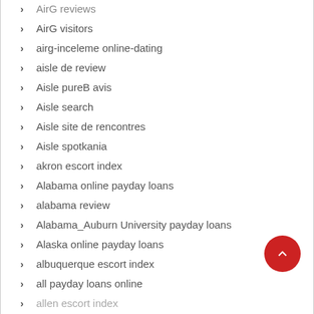AirG reviews
AirG visitors
airg-inceleme online-dating
aisle de review
Aisle pureB avis
Aisle search
Aisle site de rencontres
Aisle spotkania
akron escort index
Alabama online payday loans
alabama review
Alabama_Auburn University payday loans
Alaska online payday loans
albuquerque escort index
all payday loans online
allen escort index